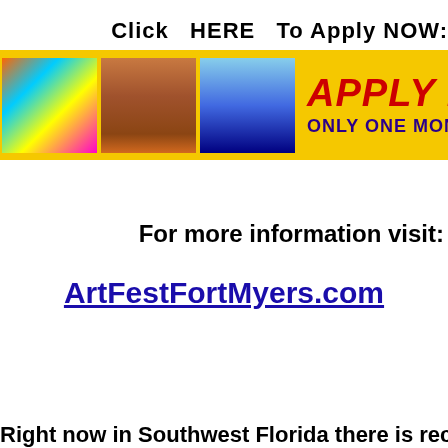Click  HERE  To Apply NOW:
[Figure (illustration): Yellow banner with three art thumbnail images on the left and bold red text 'APPLY NOW! ON' with purple subtext 'ONLY ONE MONTH UNTI' on the right]
For more information visit:
ArtFestFortMyers.com
Right now in Southwest Florida there is record hig...